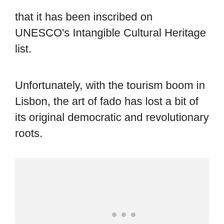that it has been inscribed on UNESCO's Intangible Cultural Heritage list.
Unfortunately, with the tourism boom in Lisbon, the art of fado has lost a bit of its original democratic and revolutionary roots.
[Figure (other): Light grey image placeholder area with navigation dots at the bottom center, a teal heart/like button with count 11, and a share button on the right side.]